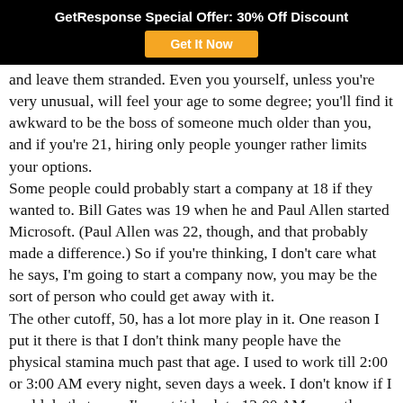GetResponse Special Offer: 30% Off Discount
and leave them stranded. Even you yourself, unless you're very unusual, will feel your age to some degree; you'll find it awkward to be the boss of someone much older than you, and if you're 21, hiring only people younger rather limits your options.
Some people could probably start a company at 18 if they wanted to. Bill Gates was 19 when he and Paul Allen started Microsoft. (Paul Allen was 22, though, and that probably made a difference.) So if you're thinking, I don't care what he says, I'm going to start a company now, you may be the sort of person who could get away with it.
The other cutoff, 50, has a lot more play in it. One reason I put it there is that I don't think many people have the physical stamina much past that age. I used to work till 2:00 or 3:00 AM every night, seven days a week. I don't know if I could do that now. I've cut it back to 12:00 AM recently.